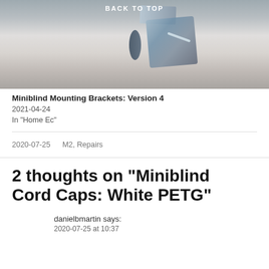[Figure (photo): Photo of miniblind mounting bracket hardware, metal bracket with screws, viewed close-up against a white surface. Text overlay 'BACK TO TOP' at top center.]
Miniblind Mounting Brackets: Version 4
2021-04-24
In "Home Ec"
2020-07-25    M2, Repairs
2 thoughts on “Miniblind Cord Caps: White PETG”
danielbmartin says:
2020-07-25 at 10:37